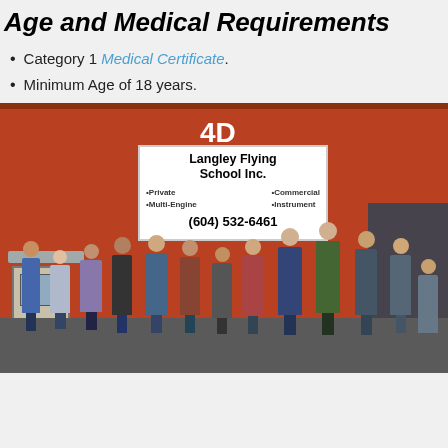Age and Medical Requirements
Category 1 Medical Certificate.
Minimum Age of 18 years.
[Figure (photo): Group photo of approximately 13 people standing in front of the Langley Flying School Inc. building, a red barn-style structure with a sign showing: Langley Flying School Inc. •Private •Multi-Engine •Commercial •Instrument (604) 532-6461]